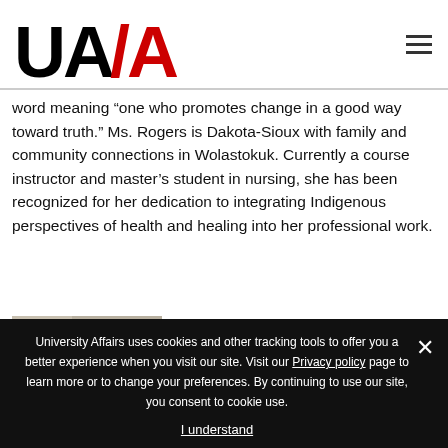[Figure (logo): UA/AU University Affairs logo in black and red bold text]
word meaning “one who promotes change in a good way toward truth.” Ms. Rogers is Dakota-Sioux with family and community connections in Wolastokuk. Currently a course instructor and master’s student in nursing, she has been recognized for her dedication to integrating Indigenous perspectives of health and healing into her professional work.
[Figure (photo): A woman with glasses and shoulder-length hair sitting at a desk with a computer monitor visible in the background]
University Affairs uses cookies and other tracking tools to offer you a better experience when you visit our site. Visit our Privacy policy page to learn more or to change your preferences. By continuing to use our site, you consent to cookie use.
I understand